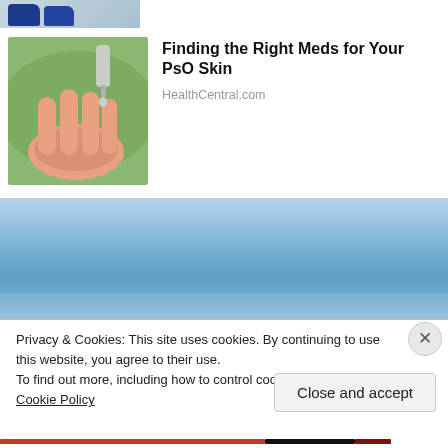[Figure (photo): Partial thumbnail of shoes/feet at the top of the page, cropped]
[Figure (photo): Close-up of a hand with drops of liquid being dripped onto the palm, representing topical medication application]
Finding the Right Meds for Your PsO Skin
HealthCentral.com
[Figure (photo): Blue sky background image]
Privacy & Cookies: This site uses cookies. By continuing to use this website, you agree to their use.
To find out more, including how to control cookies, see here: Cookie Policy
Close and accept